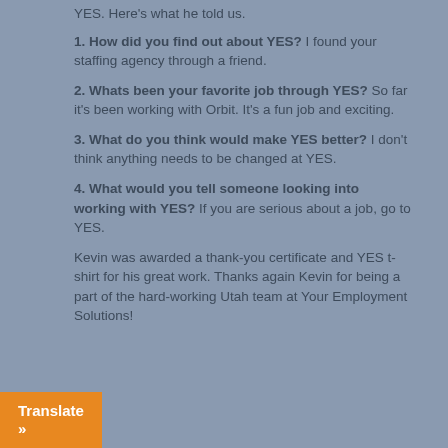YES. Here's what he told us.
1. How did you find out about YES? I found your staffing agency through a friend.
2. Whats been your favorite job through YES? So far it's been working with Orbit. It's a fun job and exciting.
3. What do you think would make YES better? I don't think anything needs to be changed at YES.
4. What would you tell someone looking into working with YES? If you are serious about a job, go to YES.
Kevin was awarded a thank-you certificate and YES t-shirt for his great work. Thanks again Kevin for being a part of the hard-working Utah team at Your Employment Solutions!
Translate »